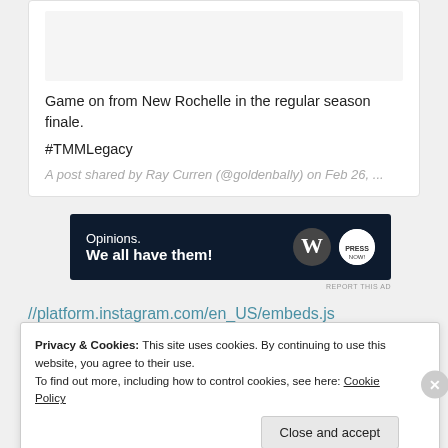[Figure (screenshot): Social media post card with image placeholder at top]
Game on from New Rochelle in the regular season finale.
#TMMLegacy
A post shared by Ray Curren (@goldenbally) on Feb 26, ...
[Figure (other): Advertisement banner: Opinions. We all have them! with WordPress logo]
REPORT THIS AD
//platform.instagram.com/en_US/embeds.js
Privacy & Cookies: This site uses cookies. By continuing to use this website, you agree to their use. To find out more, including how to control cookies, see here: Cookie Policy
Close and accept